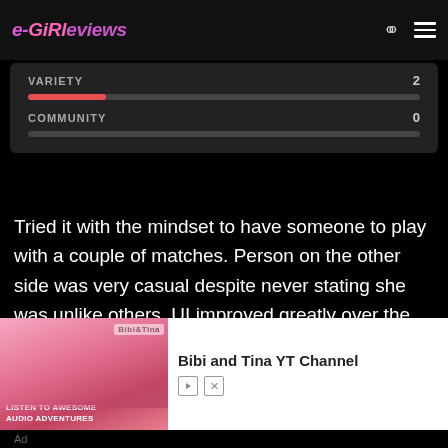e-GiRl Reviews
[Figure (bar-chart): Ratings]
Tried it with the mindset to have someone to play with a couple of matches. Person on the other side was very casual despite never stating she was unlike others. UI improved greatly over the months. There's not much variety. Community is pretty
[Figure (screenshot): Ad banner for Bibi and Tina YT Channel with audio adventures image]
Ad